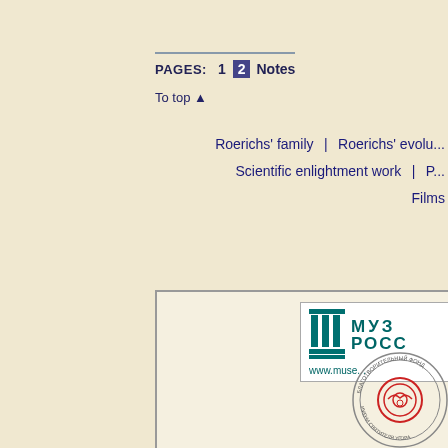PAGES: 1 2 Notes
To top ▲
Roerichs' family | Roerichs' evolu... Scientific enlightment work | P... Films
[Figure (logo): Museum logo with columns icon, text МУЗ РОСС and www.muse...]
[Figure (logo): Circular stamp/seal with red concentric circles and dove motif, text around border in Russian]